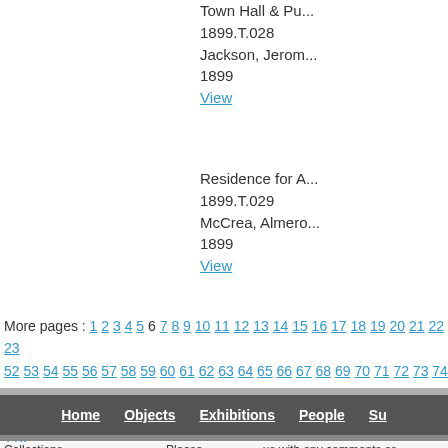Town Hall & Pu...
1899.T.028
Jackson, Jerom...
1899
View
Residence for A...
1899.T.029
McCrea, Almero...
1899
View
More pages : 1 2 3 4 5 6 7 8 9 10 11 12 13 14 15 16 17 18 19 20 21 22 23... 52 53 54 55 56 57 58 59 60 61 62 63 64 65 66 67 68 69 70 71 72 73 74 7... 103 104 105 106 107 108 109 110 111 112 113 114 115 116 117 118 119... 140 141 142 143 144 145 146
Home  Objects  Exhibitions  People  Su...